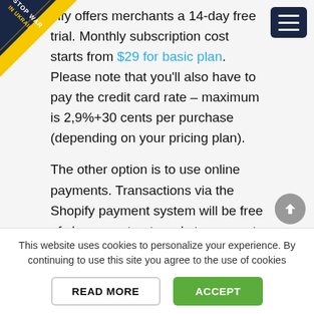[Figure (logo): Stop War in Ukraine badge/ribbon in top-left corner with blue and yellow colors]
Shopify offers merchants a 14-day free trial. Monthly subscription cost starts from $29 for basic plan. Please note that you'll also have to pay the credit card rate – maximum is 2,9%+30 cents per purchase (depending on your pricing plan).
The other option is to use online payments. Transactions via the Shopify payment system will be free of charge, yet get ready to pay up to 2% for using external payment gateways, e.g. PayPal. Therefore, maintaining a store can
This website uses cookies to personalize your experience. By continuing to use this site you agree to the use of cookies